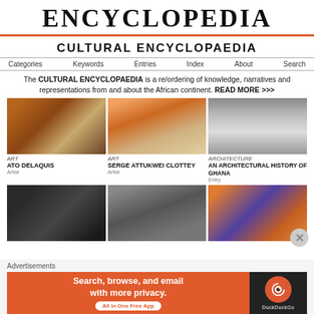ENCYCLOPEDIA
CULTURAL ENCYCLOPAEDIA
Categories  Keywords  Entries  Index  About  Search
The CULTURAL ENCYCLOPAEDIA is a re/ordering of knowledge, narratives and representations from and about the African continent. READ MORE >>>
[Figure (photo): Abstract art painting with warm brown tones]
ART
ATO DELAQUIS
Artist
[Figure (photo): Person wearing orange hat and face paint with badges]
ART
SERGE ATTUKWEI CLOTTEY
Artist
[Figure (photo): Black and white photo of a church tower with arched entrance - Ghana architecture]
ARCHITECTURE
AN ARCHITECTURAL HISTORY OF GHANA
Entry
[Figure (photo): Person in dark hoodie with sunglasses on phone]
[Figure (photo): Black and white historical photo of large group of people]
[Figure (photo): Colorful geometric murals with woman standing in front]
Advertisements
Search, browse, and email with more privacy. All in One Free App
DuckDuckGo